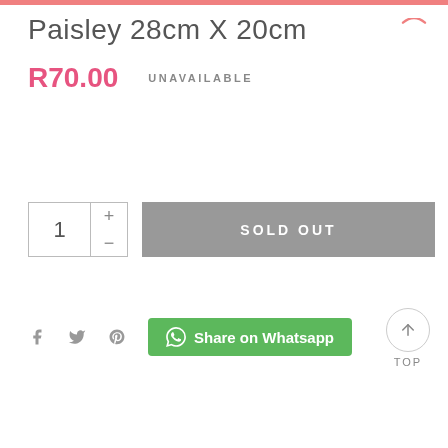Paisley 28cm X 20cm
R70.00   UNAVAILABLE
1  +  -  SOLD OUT
Share on Whatsapp
TOP